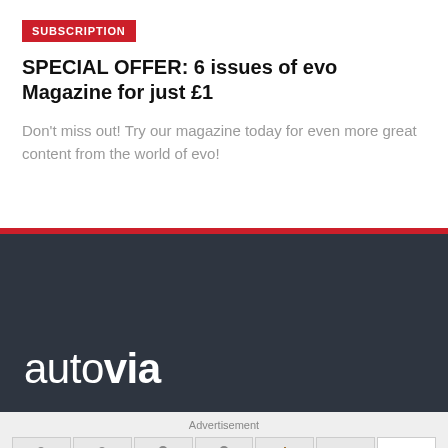SUBSCRIPTION
SPECIAL OFFER: 6 issues of evo Magazine for just £1
Don't miss out! Try our magazine today for even more great content from the world of evo!
[Figure (logo): Autovia logo in white text on dark navy/charcoal background]
Advertisement
[Figure (photo): Advertisement banner showing product images of various small accessories (keychains, cases, bags) and a brand logo 'NOMRE' with play/close icons]